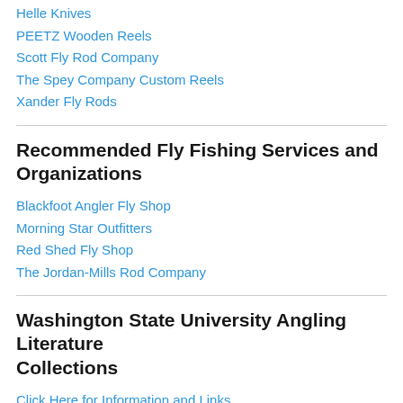Helle Knives
PEETZ Wooden Reels
Scott Fly Rod Company
The Spey Company Custom Reels
Xander Fly Rods
Recommended Fly Fishing Services and Organizations
Blackfoot Angler Fly Shop
Morning Star Outfitters
Red Shed Fly Shop
The Jordan-Mills Rod Company
Washington State University Angling Literature Collections
Click Here for Information and Links